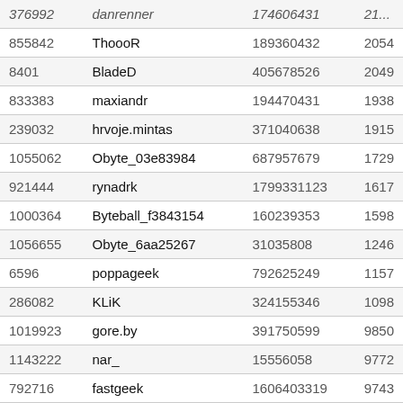| ID | Username | Col3 | Col4 |
| --- | --- | --- | --- |
| 376992 | danrenner | 174606431 | 21... |
| 855842 | ThoooR | 189360432 | 2054 |
| 8401 | BladeD | 405678526 | 2049 |
| 833383 | maxiandr | 194470431 | 1938 |
| 239032 | hrvoje.mintas | 371040638 | 1915 |
| 1055062 | Obyte_03e83984 | 687957679 | 1729 |
| 921444 | rynadrk | 1799331123 | 1617 |
| 1000364 | Byteball_f3843154 | 160239353 | 1598 |
| 1056655 | Obyte_6aa25267 | 31035808 | 1246 |
| 6596 | poppageek | 792625249 | 1157 |
| 286082 | KLiK | 324155346 | 1098 |
| 1019923 | gore.by | 391750599 | 9850 |
| 1143222 | nar_ | 15556058 | 9772 |
| 792716 | fastgeek | 1606403319 | 9743 |
| 1112326 | Seth Karlinsey | 428781579 | 9595 |
| 822764 | rvanmanen9123 | 688658101 | 9473 |
| 76467 | ... | 206007070 | ... |